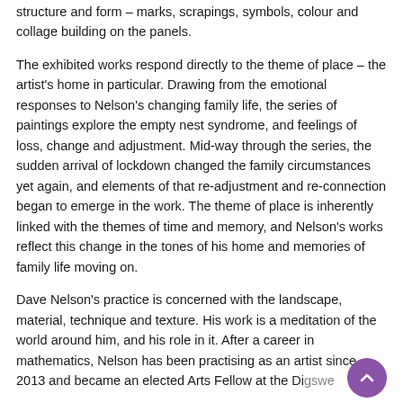structure and form – marks, scrapings, symbols, colour and collage building on the panels.
The exhibited works respond directly to the theme of place – the artist's home in particular. Drawing from the emotional responses to Nelson's changing family life, the series of paintings explore the empty nest syndrome, and feelings of loss, change and adjustment. Mid-way through the series, the sudden arrival of lockdown changed the family circumstances yet again, and elements of that re-adjustment and re-connection began to emerge in the work. The theme of place is inherently linked with the themes of time and memory, and Nelson's works reflect this change in the tones of his home and memories of family life moving on.
Dave Nelson's practice is concerned with the landscape, material, technique and texture. His work is a meditation of the world around him, and his role in it. After a career in mathematics, Nelson has been practising as an artist since 2013 and became an elected Arts Fellow at the Digswe...